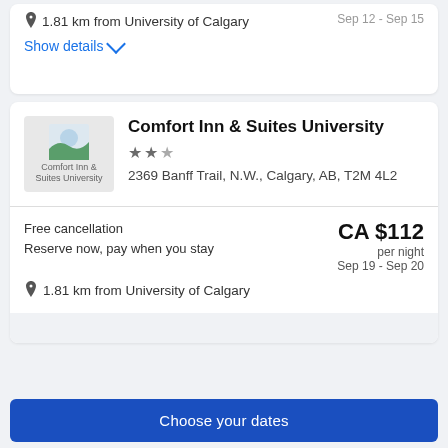Sep 12 - Sep 15 (partial, truncated)
1.81 km from University of Calgary
Show details
Comfort Inn & Suites University
Comfort Inn & Suites University
2369 Banff Trail, N.W., Calgary, AB, T2M 4L2
Free cancellation
Reserve now, pay when you stay
CA $112 per night
Sep 19 - Sep 20
1.81 km from University of Calgary
Choose your dates